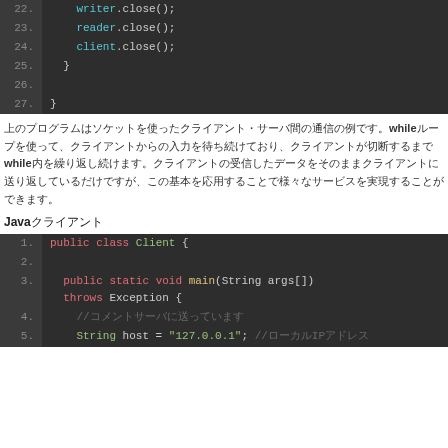[Figure (screenshot): Code block showing lines 22-27 of Java code: writer.close(); reader.close(); client.close(); } closing braces on dark background]
上のプログラムはソケットを使ったクライアント・サーバ間の通信の例です。whileループを使って、クライアントからの入力を待ち続けており、クライアントが切断するまでwhile内を繰り返し続けます。クライアントの受信したデータをそのままクライアントに送り返しているだけですが、この基本を応用することで様々なサービスを実現することができます。
Javaクライアント
[Figure (screenshot): Code block showing lines 1-5 of Java Client class: public class Client { public static void main(String args[]) throws Exception { //コメント String host = '127.0.0.1'; //ローカルIPアドレス]